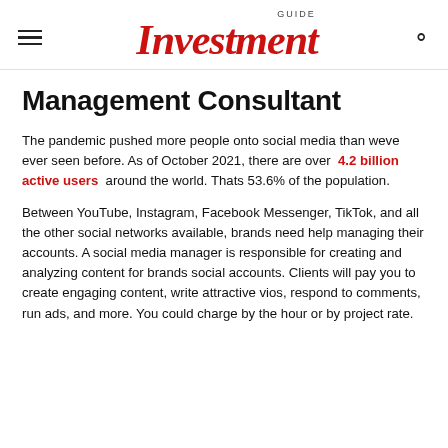GUIDE Investment
Management Consultant
The pandemic pushed more people onto social media than weve ever seen before. As of October 2021, there are over 4.2 billion active users around the world. Thats 53.6% of the population.
Between YouTube, Instagram, Facebook Messenger, TikTok, and all the other social networks available, brands need help managing their accounts. A social media manager is responsible for creating and analyzing content for brands social accounts. Clients will pay you to create engaging content, write attractive vios, respond to comments, run ads, and more. You could charge by the hour or by project rate.